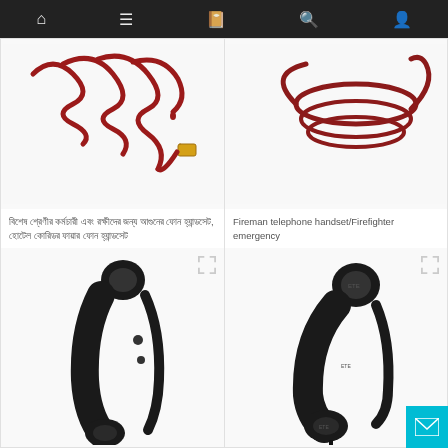Navigation bar with home, menu, book, search, profile icons
[Figure (photo): Red coiled telephone cord with RJ connector on white background]
বিশেষ শ্রেণীর কর্মচারী এবং রক্ষীদের জন্য আগুনের ফোন হ্যান্ডসেট, হোটেল কোরিডর ফায়ার ফোন হ্যান্ডসেট
[Figure (photo): Red coiled telephone cord on white background, viewed from above]
Fireman telephone handset/Firefighter emergency
[Figure (photo): Black telephone handset standing upright on white background]
[Figure (photo): Black telephone handset lying on white background]